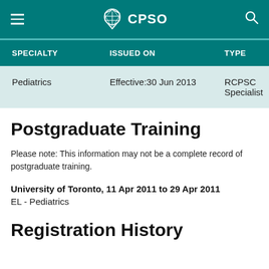CPSO
| SPECIALTY | ISSUED ON | TYPE |
| --- | --- | --- |
| Pediatrics | Effective:30 Jun 2013 | RCPSC Specialist |
Postgraduate Training
Please note: This information may not be a complete record of postgraduate training.
University of Toronto, 11 Apr 2011 to 29 Apr 2011
EL - Pediatrics
Registration History